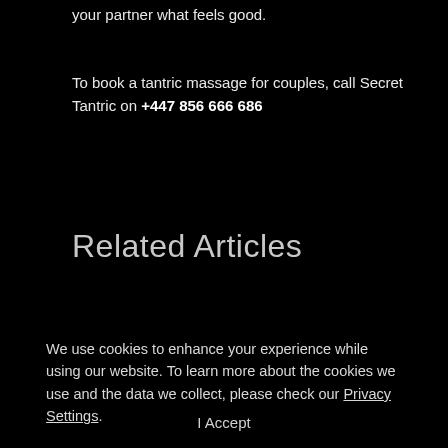your partner what feels good.
To book a tantric massage for couples, call Secret Tantric on +447 856 666 686
Related Articles
We use cookies to enhance your experience while using our website. To learn more about the cookies we use and the data we collect, please check our Privacy Settings.
I Accept